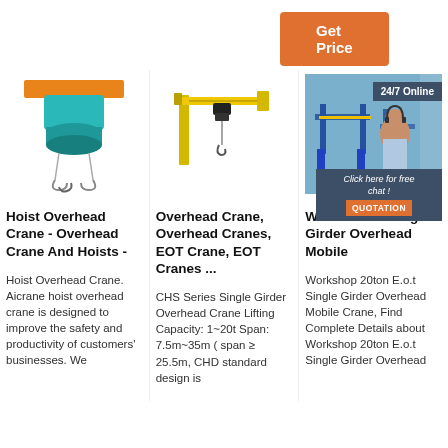Get Price
[Figure (photo): Hoist overhead crane product image showing green electric hoist unit with hook hanging from orange beam]
[Figure (photo): Yellow jib / wall-mounted overhead crane with hook, single girder extending horizontally]
[Figure (photo): Blue gantry crane at port/yard with a customer service representative and 24/7 Online badge, plus chat popup with QUOTATION button]
Hoist Overhead Crane - Overhead Crane And Hoists -
Hoist Overhead Crane. Aicrane hoist overhead crane is designed to improve the safety and productivity of customers' businesses. We
Overhead Crane, Overhead Cranes, EOT Crane, EOT Cranes ...
CHS Series Single Girder Overhead Crane Lifting Capacity: 1~20t Span: 7.5m~35m ( span ≥ 25.5m, CHD standard design is
Workshop E.O.T Single Girder Overhead Mobile
Workshop 20ton E.o.t Single Girder Overhead Mobile Crane, Find Complete Details about Workshop 20ton E.o.t Single Girder Overhead